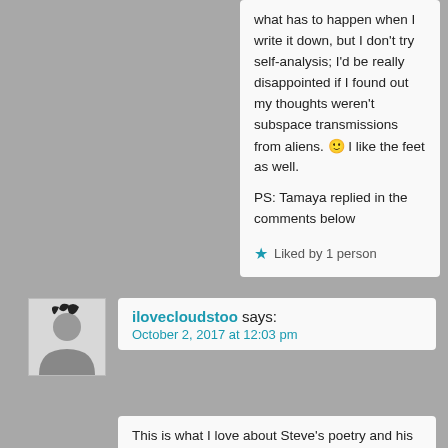what has to happen when I write it down, but I don't try self-analysis; I'd be really disappointed if I found out my thoughts weren't subspace transmissions from aliens. 🙂 I like the feet as well.

PS: Tamaya replied in the comments below
Liked by 1 person
ilovecloudstoo says:
October 2, 2017 at 12:03 pm
This is what I love about Steve's poetry and his ability to take us all with him. The dialogues with him and his followers have a feeling of an ongoing play. I can see this on stage, can't you Steve?
Dark stage with typewriter clicking away.
Steven writing his poem and reading it out